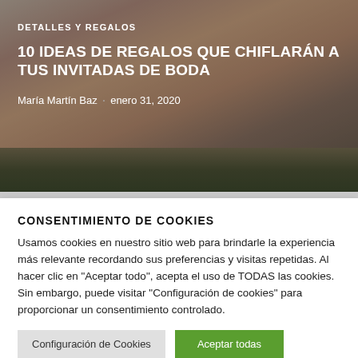[Figure (photo): Hero image of wedding guests in formal attire including a woman in an orange/salmon dress and others in floral outfits, with greenery in the background]
DETALLES Y REGALOS
10 IDEAS DE REGALOS QUE CHIFLARÁN A TUS INVITADAS DE BODA
María Martín Baz · enero 31, 2020
CONSENTIMIENTO DE COOKIES
Usamos cookies en nuestro sitio web para brindarle la experiencia más relevante recordando sus preferencias y visitas repetidas. Al hacer clic en "Aceptar todo", acepta el uso de TODAS las cookies. Sin embargo, puede visitar "Configuración de cookies" para proporcionar un consentimiento controlado.
Configuración de Cookies | Aceptar todas